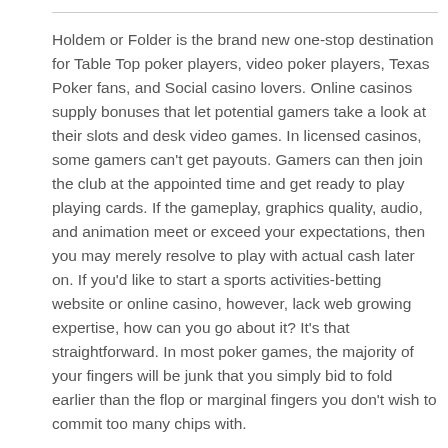Holdem or Folder is the brand new one-stop destination for Table Top poker players, video poker players, Texas Poker fans, and Social casino lovers. Online casinos supply bonuses that let potential gamers take a look at their slots and desk video games. In licensed casinos, some gamers can't get payouts. Gamers can then join the club at the appointed time and get ready to play playing cards. If the gameplay, graphics quality, audio, and animation meet or exceed your expectations, then you may merely resolve to play with actual cash later on. If you'd like to start a sports activities-betting website or online casino, however, lack web growing expertise, how can you go about it? It's that straightforward. In most poker games, the majority of your fingers will be junk that you simply bid to fold earlier than the flop or marginal fingers you don't wish to commit too many chips with.
This kind of activity lets individuals danger their cash with the